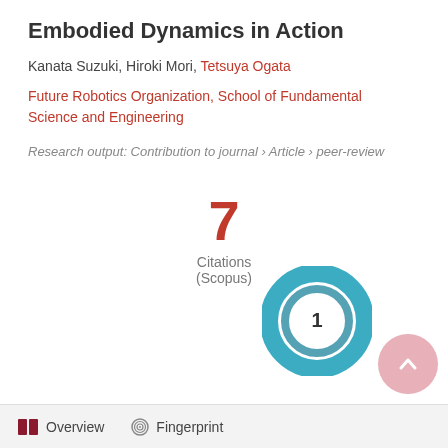Embodied Dynamics in Action
Kanata Suzuki, Hiroki Mori, Tetsuya Ogata
Future Robotics Organization, School of Fundamental Science and Engineering
Research output: Contribution to journal › Article › peer-review
[Figure (other): Citation count: 7 Citations (Scopus)]
[Figure (donut-chart): Donut chart showing 1, teal colored ring with white center showing the number 1]
Overview   Fingerprint